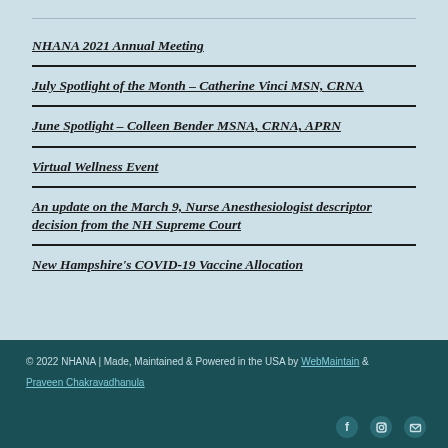NHANA 2021 Annual Meeting
July Spotlight of the Month – Catherine Vinci MSN, CRNA
June Spotlight – Colleen Bender MSNA, CRNA, APRN
Virtual Wellness Event
An update on the March 9, Nurse Anesthesiologist descriptor decision from the NH Supreme Court
New Hampshire's COVID-19 Vaccine Allocation
© 2022 NHANA | Made, Maintained & Powered in the USA by WebMaintain & Praveen Chakravadhanula